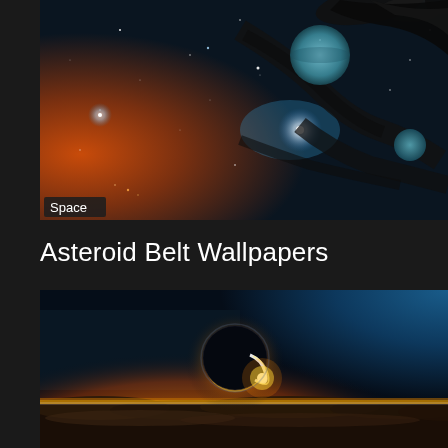[Figure (illustration): Digital artwork of an asteroid belt and space scene with warm orange glow on left, deep blue starfield, swirling asteroid belt, and two planets visible against a teal blue background. A 'Space' label badge is overlaid in the bottom-left corner of the image.]
Asteroid Belt Wallpapers
[Figure (photo): Space wallpaper showing a solar eclipse viewed from above clouds, with a dark planet silhouette against a bright sun creating a ring of light, horizon glowing orange-yellow, clouds below, and blue sky gradient above.]